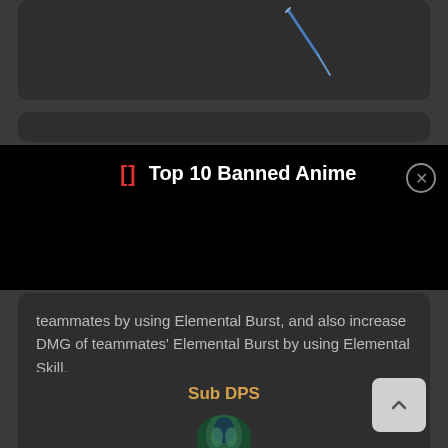[Figure (screenshot): Dark card area at top of mobile game UI showing partial character illustration with blue weapon/sword detail]
[Figure (screenshot): Second dark rounded card, partially visible]
Top 10 Banned Anime
teammates by using Elemental Burst, and also increase DMG of teammates' Elemental Burst by using Elemental Skill.
Sub DPS
[Figure (illustration): Character illustration partially visible at bottom of page, showing green and teal costume details]